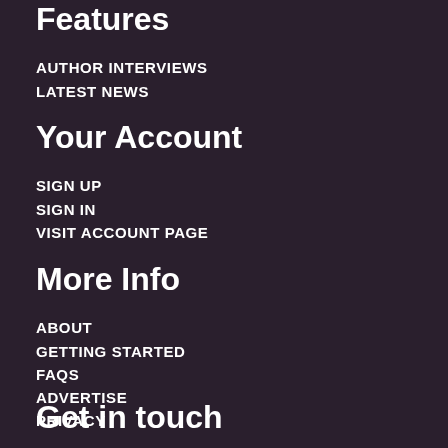Features
AUTHOR INTERVIEWS
LATEST NEWS
Your Account
SIGN UP
SIGN IN
VISIT ACCOUNT PAGE
More Info
ABOUT
GETTING STARTED
FAQS
ADVERTISE
PRIVACY
Get in touch